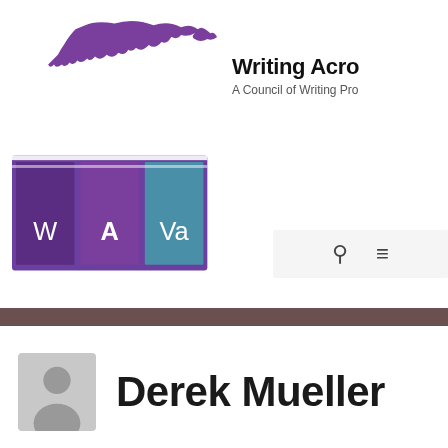[Figure (logo): WAVa logo with Virginia state silhouette in purple above books/columns graphic with W A Va text, and 'Writing Acro...' organization name and 'A Council of Writing Pro...' subtitle]
Derek Mueller